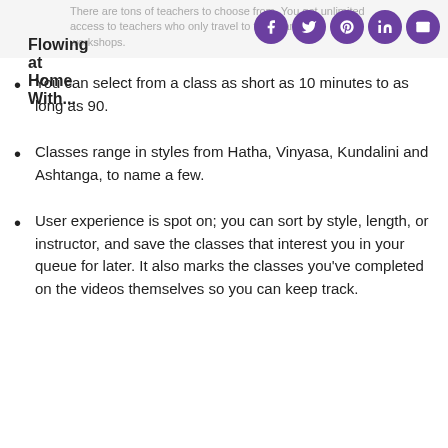Flowing at Home With...
There are tons of teachers to choose from. You get unlimited access to teachers who only travel to teach and lead workshops.
You can select from a class as short as 10 minutes to as long as 90.
Classes range in styles from Hatha, Vinyasa, Kundalini and Ashtanga, to name a few.
User experience is spot on; you can sort by style, length, or instructor, and save the classes that interest you in your queue for later. It also marks the classes you've completed on the videos themselves so you can keep track.